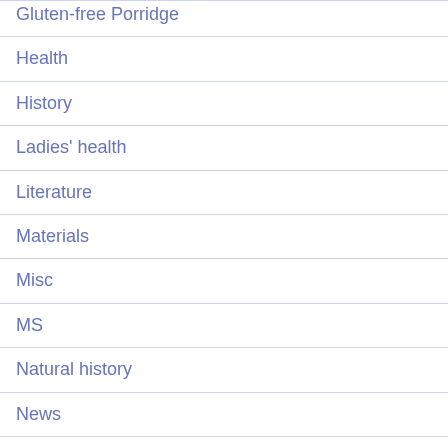Gluten-free Porridge
Health
History
Ladies' health
Literature
Materials
Misc
MS
Natural history
News
Nutritional
OMS